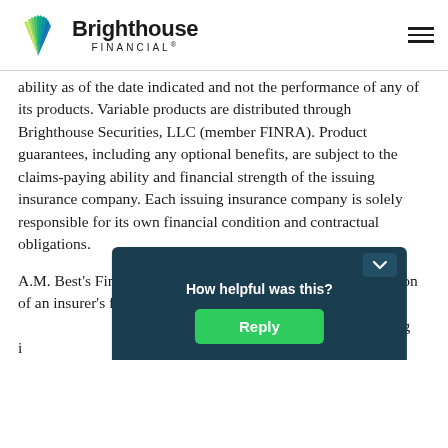[Figure (logo): Brighthouse Financial logo with sunburst icon and text 'Brighthouse FINANCIAL®']
ability as of the date indicated and not the performance of any of its products. Variable products are distributed through Brighthouse Securities, LLC (member FINRA). Product guarantees, including any optional benefits, are subject to the claims-paying ability and financial strength of the issuing insurance company. Each issuing insurance company is solely responsible for its own financial condition and contractual obligations.
A.M. Best's Financial Strength Rating is an independent opinion of an insurer's financial strength and ability to meet its ongoing insurance policy and contract obligations. The Financial Strength Rating is not assigned to specific insurance policies